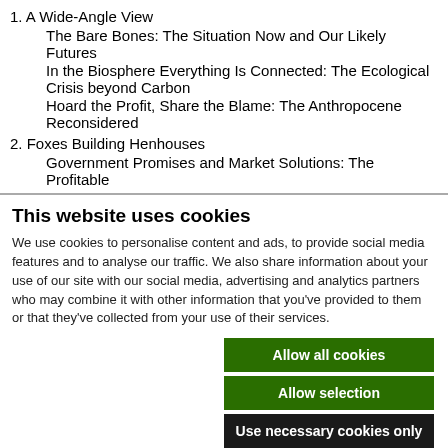1. A Wide-Angle View
The Bare Bones: The Situation Now and Our Likely Futures
In the Biosphere Everything Is Connected: The Ecological Crisis beyond Carbon
Hoard the Profit, Share the Blame: The Anthropocene Reconsidered
2. Foxes Building Henhouses
Government Promises and Market Solutions: The Profitable
This website uses cookies
We use cookies to personalise content and ads, to provide social media features and to analyse our traffic. We also share information about your use of our site with our social media, advertising and analytics partners who may combine it with other information that you've provided to them or that they've collected from your use of their services.
Allow all cookies | Allow selection | Use necessary cookies only
Necessary | Preferences | Statistics | Marketing | Show details